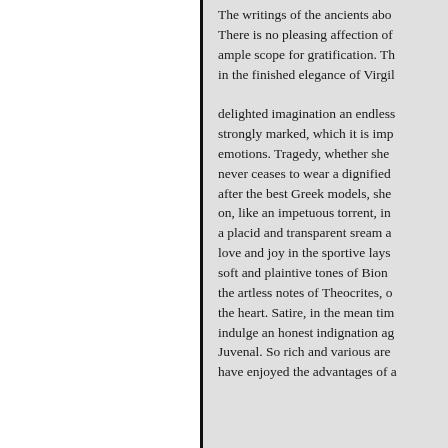The writings of the ancients about There is no pleasing affection of ample scope for gratification. Th in the finished elegance of Virgil delighted imagination an endless strongly marked, which it is imp emotions. Tragedy, whether she never ceases to wear a dignified after the best Greek models, she on, like an impetuous torrent, in a placid and transparent sream a love and joy in the sportive lays soft and plaintive tones of Bion the artless notes of Theocrites, o the heart. Satire, in the mean tim indulge an honest indignation ag Juvenal. So rich and various are have enjoyed the advantages of a